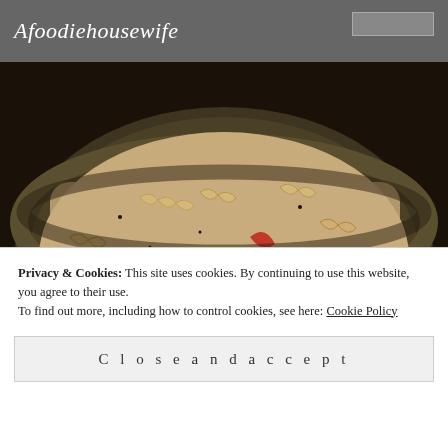Afoodiehousewife
[Figure (photo): A bowl of rotini pasta with red bell peppers, mushrooms in a creamy sauce, served in a rustic ceramic bowl on a dark background]
Privacy & Cookies: This site uses cookies. By continuing to use this website, you agree to their use.
To find out more, including how to control cookies, see here: Cookie Policy
Close and accept